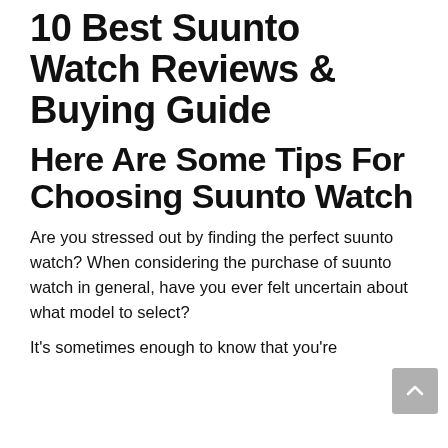10 Best Suunto Watch Reviews & Buying Guide
Here Are Some Tips For Choosing Suunto Watch
Are you stressed out by finding the perfect suunto watch? When considering the purchase of suunto watch in general, have you ever felt uncertain about what model to select?
It's sometimes enough to know that you're